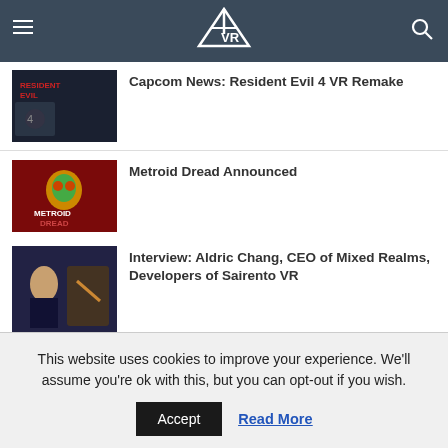VR [logo]
Capcom News: Resident Evil 4 VR Remake
Metroid Dread Announced
Interview: Aldric Chang, CEO of Mixed Realms, Developers of Sairento VR
Oculus Go: The Smartphone-VR Hybrid
This website uses cookies to improve your experience. We'll assume you're ok with this, but you can opt-out if you wish.
Accept | Read More